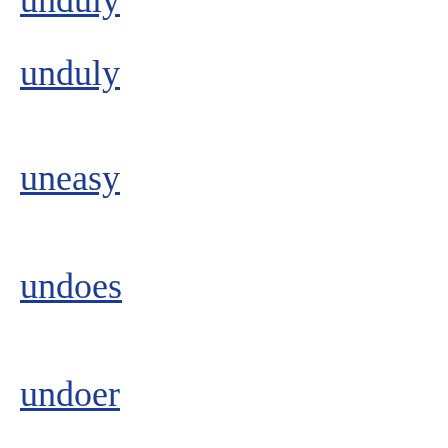unduly
uneasy
undoes
undoer
undock
undone
undraw
undrew
undine